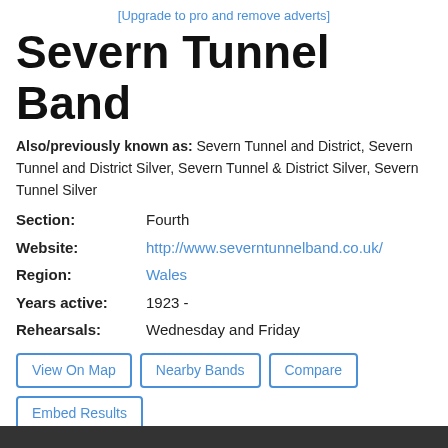[Upgrade to pro and remove adverts]
Severn Tunnel Band
Also/previously known as: Severn Tunnel and District, Severn Tunnel and District Silver, Severn Tunnel & District Silver, Severn Tunnel Silver
Section: Fourth
Website: http://www.severntunnelband.co.uk/
Region: Wales
Years active: 1923 -
Rehearsals: Wednesday and Friday
View On Map
Nearby Bands
Compare
Embed Results
Results as CSV